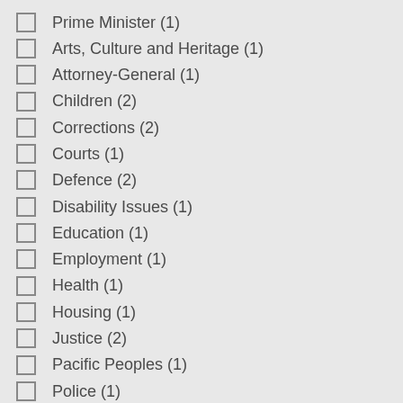Prime Minister (1)
Arts, Culture and Heritage (1)
Attorney-General (1)
Children (2)
Corrections (2)
Courts (1)
Defence (2)
Disability Issues (1)
Education (1)
Employment (1)
Health (1)
Housing (1)
Justice (2)
Pacific Peoples (1)
Police (1)